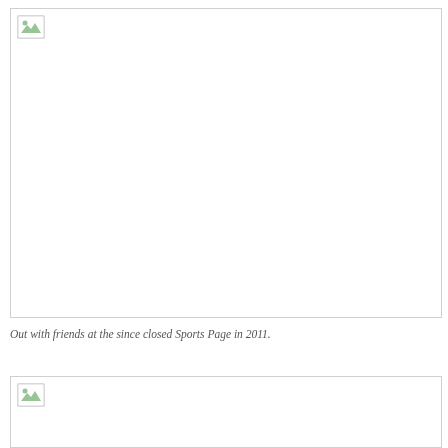[Figure (photo): A broken/unloaded image placeholder with a small image icon in the top-left corner. Large white rectangle with gray border representing a photo of people out with friends at the since closed Sports Page in 2011.]
Out with friends at the since closed Sports Page in 2011.
[Figure (photo): A second broken/unloaded image placeholder with a small image icon in the top-left corner. Partial view of another photo at the bottom of the page.]